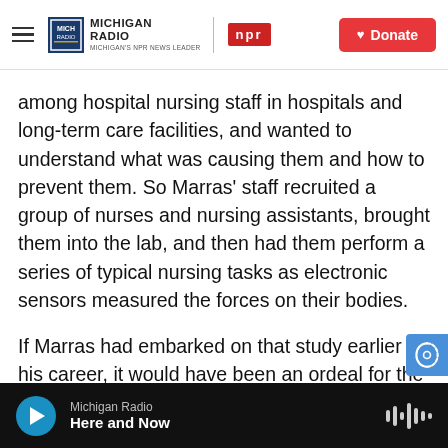Michigan Radio | NPR | Donate
among hospital nursing staff in hospitals and long-term care facilities, and wanted to understand what was causing them and how to prevent them. So Marras' staff recruited a group of nurses and nursing assistants, brought them into the lab, and then had them perform a series of typical nursing tasks as electronic sensors measured the forces on their bodies.
If Marras had embarked on that study earlier in his career, it would have been an ordeal for the test subjects. "We used to monitor the muscle activity by loading little wires into hypodermic needle
Michigan Radio | Here and Now